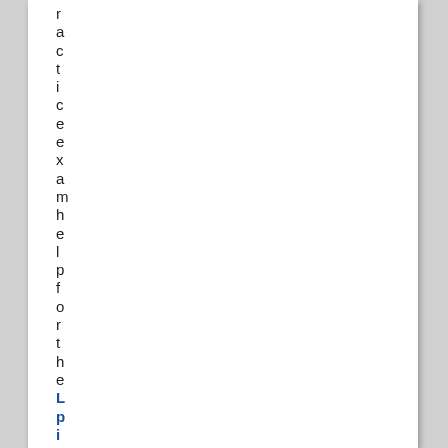r a c t i c e e x a m h e l p f o r t h e L p i 1